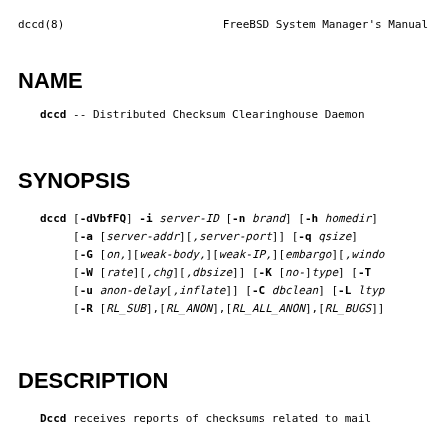dccd(8)                FreeBSD System Manager's Manual
NAME
dccd -- Distributed Checksum Clearinghouse Daemon
SYNOPSIS
dccd [-dVbfFQ] -i server-ID [-n brand] [-h homedir] [-a [server-addr][,server-port]] [-q qsize] [-G [on,][weak-body,][weak-IP,][embargo][,windo [-W [rate][,chg][,dbsize]] [-K [no-]type] [-T [-u anon-delay[,inflate]] [-C dbclean] [-L ltyp [-R [RL_SUB],[RL_ANON],[RL_ALL_ANON],[RL_BUGS]]
DESCRIPTION
Dccd receives reports of checksums related to mail